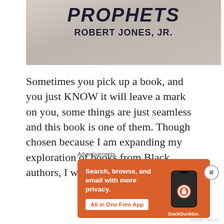[Figure (photo): A book titled 'PROPHETS' by Robert Jones, Jr. resting on white fabric/linen, with a light blue and yellow cover visible.]
Sometimes you pick up a book, and you just KNOW it will leave a mark on you, some things are just seamless and this book is one of them. Though chosen because I am expanding my exploration of books from Black authors, I was pleasantly surprised by
Advertisements
[Figure (screenshot): DuckDuckGo advertisement: 'Search, browse, and email with more privacy. All in One Free App' on orange background with phone mockup showing DuckDuckGo app.]